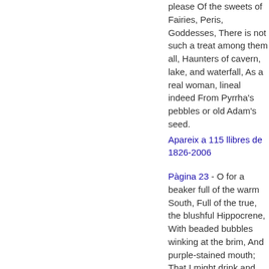please Of the sweets of Fairies, Peris, Goddesses, There is not such a treat among them all, Haunters of cavern, lake, and waterfall, As a real woman, lineal indeed From Pyrrha's pebbles or old Adam's seed.
Apareix a 115 llibres de 1826-2006
Pàgina 23 - O for a beaker full of the warm South, Full of the true, the blushful Hippocrene, With beaded bubbles winking at the brim, And purple-stained mouth; That I might drink and leave the world unseen, And with thee fade away into the forest dim.